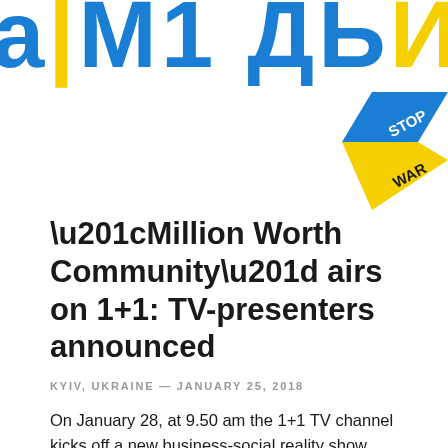[Figure (other): Banner with large Cyrillic text 'а|М1 ДЬЙОН' in blue and yellow colors on white background, partially cropped at top of page]
[Figure (other): Stop War badge/ribbon in blue and yellow diagonal chevron shape with text 'STOP WAR', positioned at top right corner]
“Million Worth Community” airs on 1+1: TV-presenters announced
KYIV, UKRAINE — JANUARY 25, 2018
On January 28, at 9.50 am the 1+1 TV channel kicks off a new business-social reality show “Million Worth Community”, where